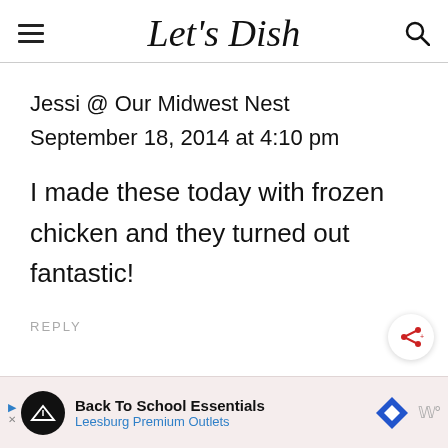Let's Dish
Jessi @ Our Midwest Nest
September 18, 2014 at 4:10 pm
I made these today with frozen chicken and they turned out fantastic!
REPLY
Back To School Essentials
Leesburg Premium Outlets